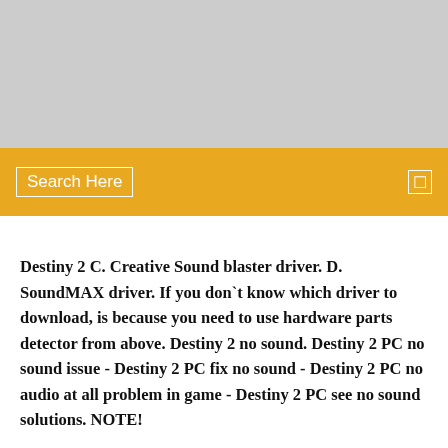[Figure (other): Gray banner image placeholder at top of page]
Search Here
Destiny 2 C. Creative Sound blaster driver. D. SoundMAX driver. If you don`t know which driver to download, is because you need to use hardware parts detector from above. Destiny 2 no sound. Destiny 2 PC no sound issue - Destiny 2 PC fix no sound - Destiny 2 PC no audio at all problem in game - Destiny 2 PC see no sound solutions. NOTE!